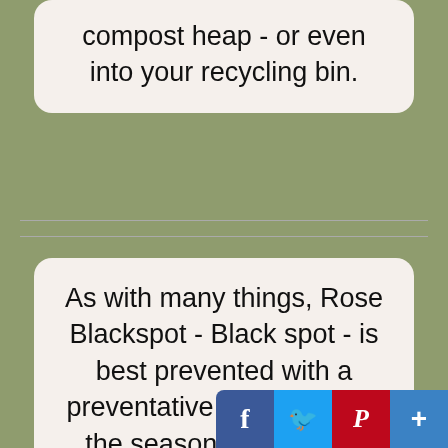compost heap - or even into your recycling bin.
As with many things, Rose Blackspot - Black spot - is best prevented with a preventative spray early in the season - before the foliage starts to show through even. Also spray the ground around the bushes at this t